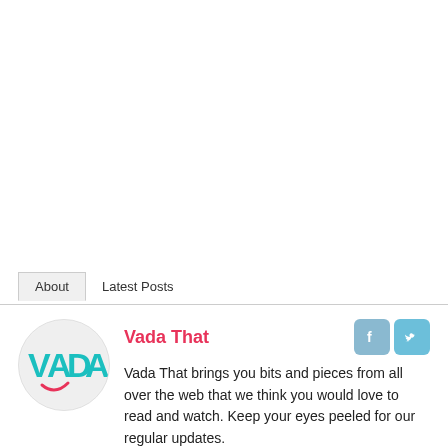About	Latest Posts
[Figure (logo): Vada logo — circular avatar with colorful VADA lettering in teal and pink on light grey background]
Vada That
Vada That brings you bits and pieces from all over the web that we think you would love to read and watch. Keep your eyes peeled for our regular updates.